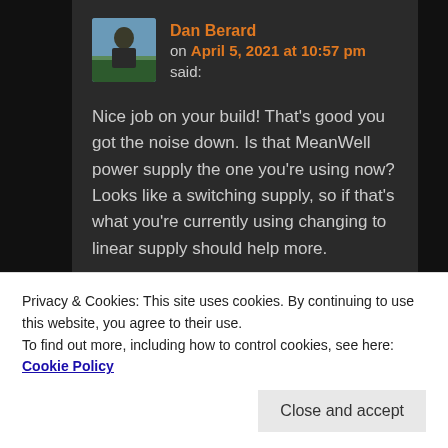[Figure (photo): Avatar photo of Dan Berard — a person in outdoor/nature setting]
Dan Berard on April 5, 2021 at 10:57 pm said:
Nice job on your build! That's good you got the noise down. Is that MeanWell power supply the one you're using now? Looks like a switching supply, so if that's what you're currently using changing to linear supply should help more.
For your questions:
Privacy & Cookies: This site uses cookies. By continuing to use this website, you agree to their use.
To find out more, including how to control cookies, see here: Cookie Policy
Close and accept